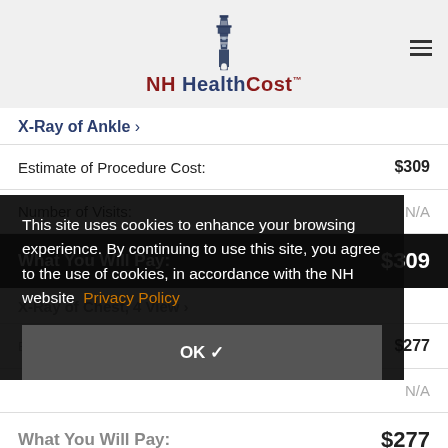[Figure (logo): NH HealthCost lighthouse logo with text]
X-Ray of Ankle >
|  |  |
| --- | --- |
| Estimate of Procedure Cost: | $309 |
| Number of Visits: | N/A |
| What You Will Pay: | $309 |
This site uses cookies to enhance your browsing experience. By continuing to use this site, you agree to the use of cookies, in accordance with the NH website Privacy Policy
OK ✓
X-Ray of Chest, 4 View >
|  |  |
| --- | --- |
| Estimate of Procedure Cost: | $277 |
| Number of Visits: | N/A |
| What You Will Pay: | $277 |